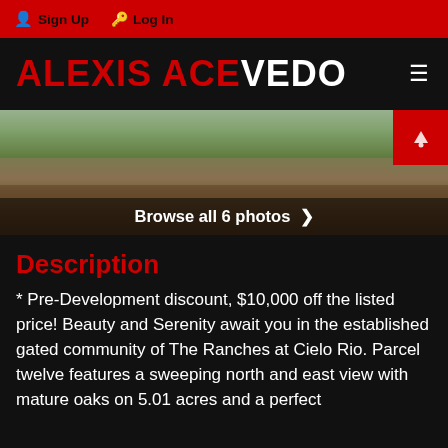Sign Up  Log In
ALEXIS ACEVEDO
[Figure (photo): Outdoor land parcel photo showing scrub brush, trees, and dry earth at The Ranches at Cielo Rio. A red tag/icon appears in the top right corner of the image.]
Browse all 6 photos >
Description
* Pre-Development discount, $10,000 off the listed price! Beauty and Serenity await you in the established gated community of The Ranches at Cielo Rio. Parcel twelve features a sweeping north and east view with mature oaks on 5.01 acres and a perfect